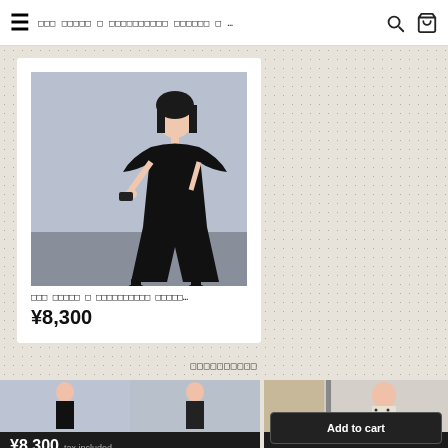≡  ??? ????? ? ??????????? ?????? ? ...  🔍  🛒
[Figure (photo): Woman wearing a black wide-leg jumpsuit with flutter sleeves, posing against a blue-grey background]
??? ????? ? ??????????? ?????...
¥8,300
??????????
[Figure (photo): Two side-by-side photos of a woman in black outfit]
¥8,300  tax included
[Figure (photo): Woman in polka dot outfit near door]
Add to cart